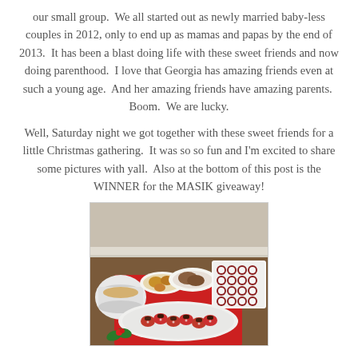our small group.  We all started out as newly married baby-less couples in 2012, only to end up as mamas and papas by the end of 2013.  It has been a blast doing life with these sweet friends and now doing parenthood.  I love that Georgia has amazing friends even at such a young age.  And her amazing friends have amazing parents.  Boom.  We are lucky.
Well, Saturday night we got together with these sweet friends for a little Christmas gathering.  It was so so fun and I'm excited to share some pictures with yall.  Also at the bottom of this post is the WINNER for the MASIK giveaway!
[Figure (photo): A table spread with Christmas party food: a slow cooker with liquid, plates with meats and sides, a large platter of chocolate-dipped strawberries on a red cloth, and a tray of red velvet cupcakes with white frosting. Holly decoration visible in the lower left.]